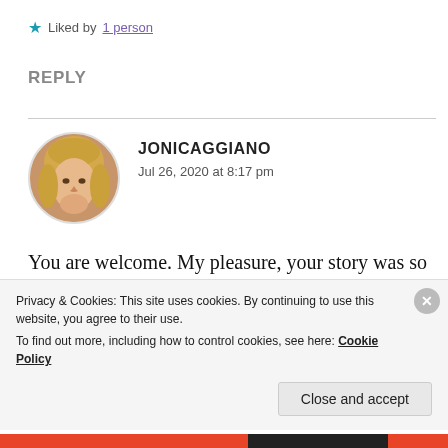★ Liked by 1 person
REPLY
[Figure (photo): Circular avatar photo of a blonde woman (Jonicaggiano)]
JONICAGGIANO
Jul 26, 2020 at 8:17 pm
You are welcome. My pleasure, your story was so beautiful. Have a blessed day my friend. Love ❤️ and many hugs coming your
Privacy & Cookies: This site uses cookies. By continuing to use this website, you agree to their use.
To find out more, including how to control cookies, see here: Cookie Policy
Close and accept